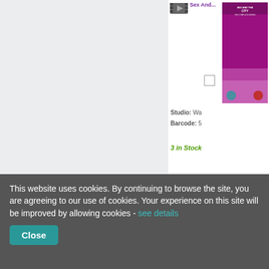[Figure (screenshot): Sex and the City DVD cover - purple/pink design with city skyline]
Sex And...
Studio: Wa
Barcode: 5
3 in Stock
[Figure (screenshot): Paranoid Park DVD cover - dark blue with hooded figure]
Paranoid...
Studio: Pa
Barcode: 5
2 in Stock
This website uses cookies. By continuing to browse the site, you are agreeing to our use of cookies. Your experience on this site will be improved by allowing cookies - see details